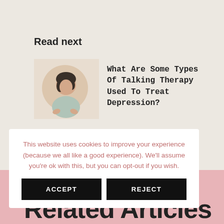Read next
[Figure (photo): A woman with short dark hair in a light gray top, looking downward with hands open, set against a warm beige background with a circular decorative element]
What Are Some Types Of Talking Therapy Used To Treat Depression?
This website uses cookies to improve your experience (because we all like a good experience). We'll assume you're ok with this, but you can opt-out if you wish.
ACCEPT
REJECT
Related Articles